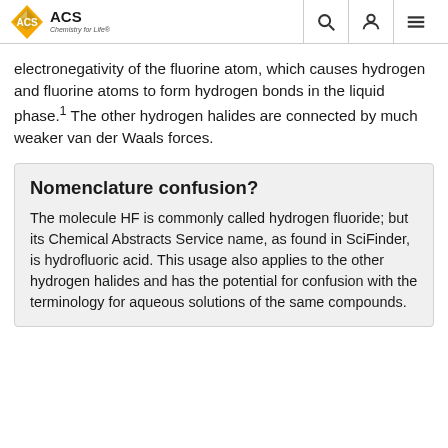ACS Chemistry for Life
electronegativity of the fluorine atom, which causes hydrogen and fluorine atoms to form hydrogen bonds in the liquid phase.1 The other hydrogen halides are connected by much weaker van der Waals forces.
Nomenclature confusion?
The molecule HF is commonly called hydrogen fluoride; but its Chemical Abstracts Service name, as found in SciFinder, is hydrofluoric acid. This usage also applies to the other hydrogen halides and has the potential for confusion with the terminology for aqueous solutions of the same compounds.